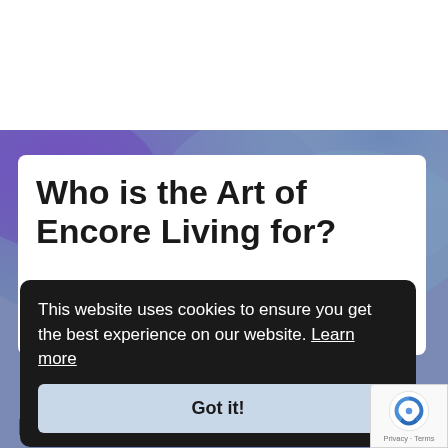Who is the Art of Encore Living for?
This website uses cookies to ensure you get the best experience on our website. Learn more
Got it!
live your legacy!